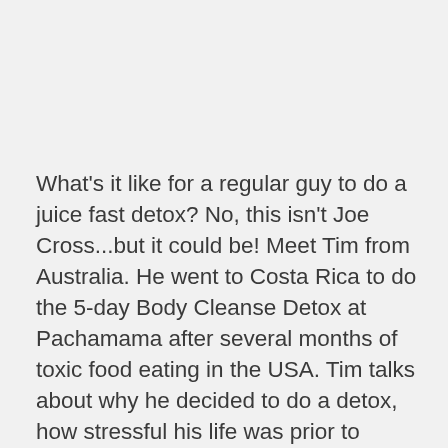What's it like for a regular guy to do a juice fast detox? No, this isn't Joe Cross...but it could be! Meet Tim from Australia. He went to Costa Rica to do the 5-day Body Cleanse Detox at Pachamama after several months of toxic food eating in the USA. Tim talks about why he decided to do a detox, how stressful his life was prior to traveling, how he prepared for the juice fast, the mental discipline required to succeed, how he felt after the liver flush, his favorite part (daily yoga) and how now, on Day 5, he feels 20